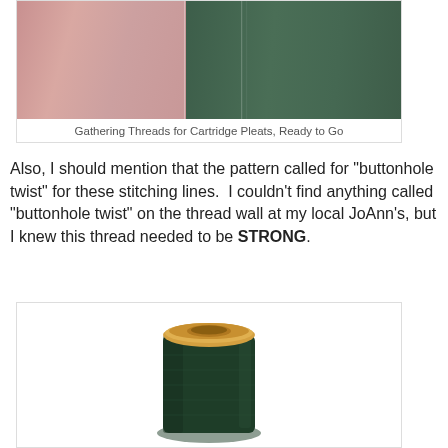[Figure (photo): Two pieces of fabric side by side — pink fabric on the left and dark green fabric on the right — showing gathering threads for cartridge pleats.]
Gathering Threads for Cartridge Pleats, Ready to Go
Also, I should mention that the pattern called for "buttonhole twist" for these stitching lines.  I couldn't find anything called "buttonhole twist" on the thread wall at my local JoAnn's, but I knew this thread needed to be STRONG.
[Figure (photo): A large spool/cone of dark green thread with a tan/orange plastic top, photographed on a white background.]